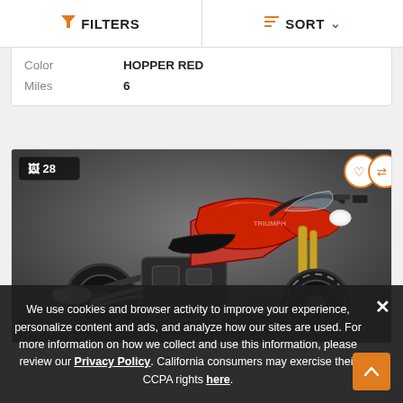FILTERS | SORT
| Field | Value |
| --- | --- |
| Color | HOPPER RED |
| Miles | 6 |
[Figure (photo): Red sport motorcycle (Triumph Speed Triple or similar) on a gray studio background, with 28 photos badge, heart and compare buttons overlay.]
We use cookies and browser activity to improve your experience, personalize content and ads, and analyze how our sites are used. For more information on how we collect and use this information, please review our Privacy Policy. California consumers may exercise their CCPA rights here.